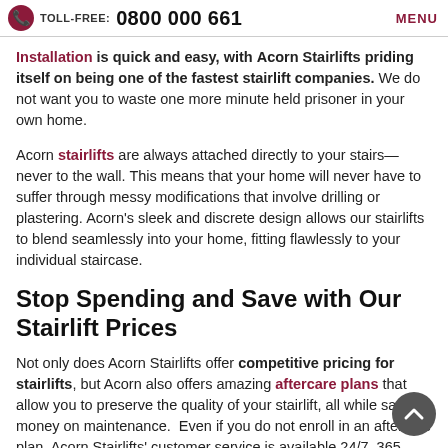TOLL-FREE: 0800 000 661  MENU
Installation is quick and easy, with Acorn Stairlifts priding itself on being one of the fastest stairlift companies. We do not want you to waste one more minute held prisoner in your own home.
Acorn stairlifts are always attached directly to your stairs—never to the wall. This means that your home will never have to suffer through messy modifications that involve drilling or plastering. Acorn's sleek and discrete design allows our stairlifts to blend seamlessly into your home, fitting flawlessly to your individual staircase.
Stop Spending and Save with Our Stairlift Prices
Not only does Acorn Stairlifts offer competitive pricing for stairlifts, but Acorn also offers amazing aftercare plans that allow you to preserve the quality of your stairlift, all while saving money on maintenance. Even if you do not enroll in an aftercare plan, Acorn Stairlifts' customer service is available 24/7, 365 days. Acorn is always just one call away, ready to help.